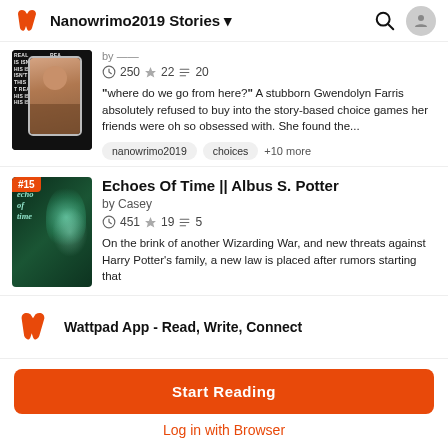Nanowrimo2019 Stories
[Figure (screenshot): Book cover for first story - black background with repeated text pattern and a phone showing a person's photo]
250 ★22 ☰20
"where do we go from here?" A stubborn Gwendolyn Farris absolutely refused to buy into the story-based choice games her friends were oh so obsessed with. She found the...
nanowrimo2019
choices
+10 more
Echoes Of Time || Albus S. Potter
by Casey
451 ★19 ☰5
On the brink of another Wizarding War, and new threats against Harry Potter's family, a new law is placed after rumors starting that
[Figure (screenshot): Book cover for Echoes of Time - dark green background with glowing teal figure and cursive title text]
Wattpad App - Read, Write, Connect
Start Reading
Log in with Browser